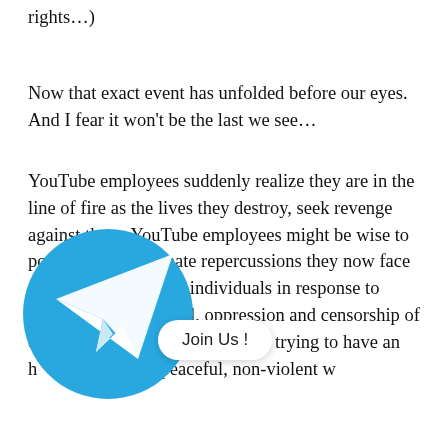rights…)
Now that exact event has unfolded before our eyes. And I fear it won't be the last we see…
YouTube employees suddenly realize they are in the line of fire as the lives they destroy, seek revenge against them. YouTube employees might be wise to ponder the unfortunate repercussions they now face from certain unstable individuals in response to YouTube's intense evil, oppression and censorship of con[tent creat]ors who are merely trying to have an h[onest living i]n a peaceful, non-violent w[ay…]
[Figure (logo): Telegram app logo: blue circle with white paper plane arrow icon, with a 'Join Us !' speech bubble overlay]
[continuation of text below]